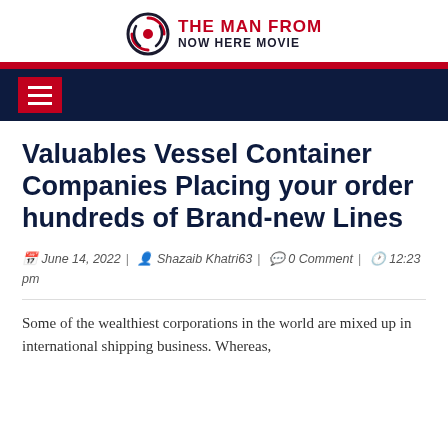THE MAN FROM NOW HERE MOVIE
Valuables Vessel Container Companies Placing your order hundreds of Brand-new Lines
June 14, 2022 | Shazaib Khatri63 | 0 Comment | 12:23 pm
Some of the wealthiest corporations in the world are mixed up in international shipping business. Whereas,